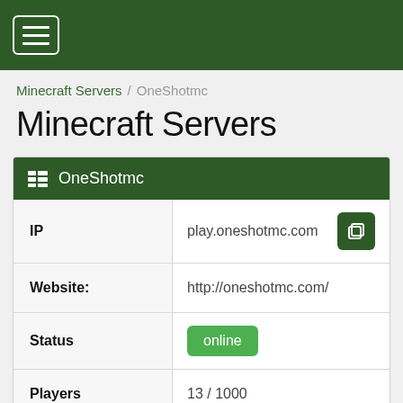≡
Minecraft Servers / OneShotmc
Minecraft Servers
| Field | Value |
| --- | --- |
| IP | play.oneshotmc.com |
| Website: | http://oneshotmc.com/ |
| Status | online |
| Players | 13 / 1000 |
| Version | 1.15 |